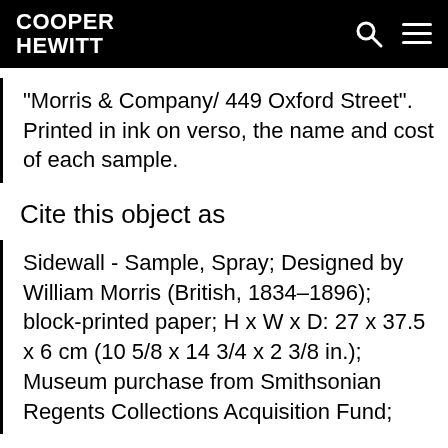COOPER HEWITT
"Morris & Company/ 449 Oxford Street". Printed in ink on verso, the name and cost of each sample.
Cite this object as
Sidewall - Sample, Spray; Designed by William Morris (British, 1834–1896); block-printed paper; H x W x D: 27 x 37.5 x 6 cm (10 5/8 x 14 3/4 x 2 3/8 in.); Museum purchase from Smithsonian Regents Collections Acquisition Fund;